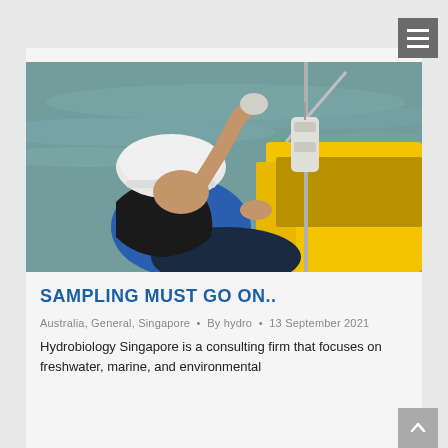[Figure (photo): A person wearing a white hard hat and blue shirt with a life jacket, leaning over the side of a yellow boat to lower a cylindrical water sampling instrument into the water.]
SAMPLING MUST GO ON..
Australia, General, Singapore • By hydro • 13 September 2021
Hydrobiology Singapore is a consulting firm that focuses on freshwater, marine, and environmental